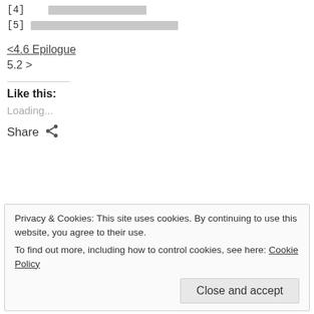[4]  ████████████████
[5]  ████████████████████████████████
<4.6 Epilogue
5.2 >
Like this:
Loading...
Share
Privacy & Cookies: This site uses cookies. By continuing to use this website, you agree to their use. To find out more, including how to control cookies, see here: Cookie Policy Close and accept